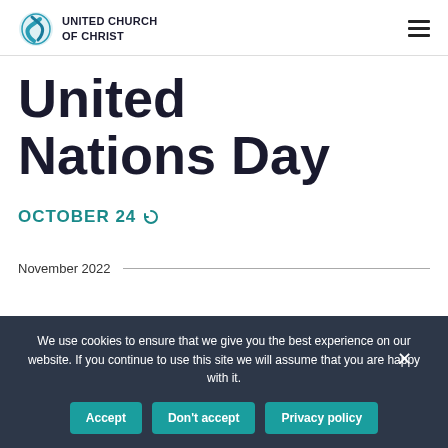UNITED CHURCH OF CHRIST
United Nations Day
OCTOBER 24
November 2022
We use cookies to ensure that we give you the best experience on our website. If you continue to use this site we will assume that you are happy with it.